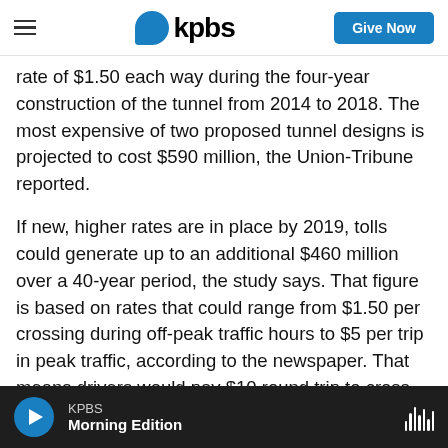kpbs | Give Now
rate of $1.50 each way during the four-year construction of the tunnel from 2014 to 2018. The most expensive of two proposed tunnel designs is projected to cost $590 million, the Union-Tribune reported.
If new, higher rates are in place by 2019, tolls could generate up to an additional $460 million over a 40-year period, the study says. That figure is based on rates that could range from $1.50 per crossing during off-peak traffic hours to $5 per trip in peak traffic, according to the newspaper. That means drivers would pay $10 round trip to cross the bridge
KPBS Morning Edition